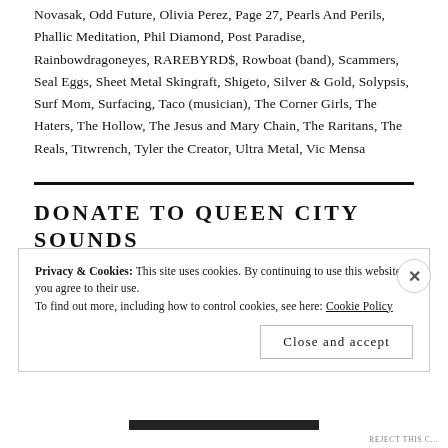Novasak, Odd Future, Olivia Perez, Page 27, Pearls And Perils, Phallic Meditation, Phil Diamond, Post Paradise, Rainbowdragoneyes, RAREBYRD$, Rowboat (band), Scammers, Seal Eggs, Sheet Metal Skingraft, Shigeto, Silver & Gold, Solypsis, Surf Mom, Surfacing, Taco (musician), The Corner Girls, The Haters, The Hollow, The Jesus and Mary Chain, The Raritans, The Reals, Titwrench, Tyler the Creator, Ultra Metal, Vic Mensa
DONATE TO QUEEN CITY SOUNDS AND ART
Privacy & Cookies: This site uses cookies. By continuing to use this website, you agree to their use.
To find out more, including how to control cookies, see here: Cookie Policy
Close and accept